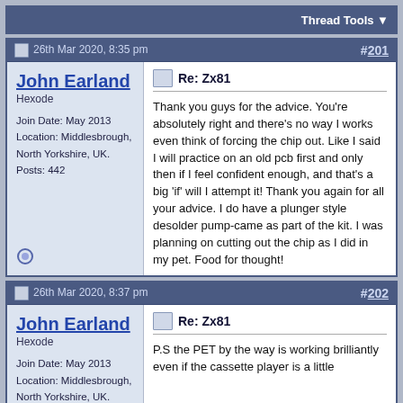Thread Tools
26th Mar 2020, 8:35 pm  #201
John Earland
Hexode

Join Date: May 2013
Location: Middlesbrough, North Yorkshire, UK.
Posts: 442
Re: Zx81

Thank you guys for the advice. You're absolutely right and there's no way I works even think of forcing the chip out. Like I said I will practice on an old pcb first and only then if I feel confident enough, and that's a big 'if' will I attempt it! Thank you again for all your advice. I do have a plunger style desolder pump-came as part of the kit. I was planning on cutting out the chip as I did in my pet. Food for thought!
26th Mar 2020, 8:37 pm  #202
John Earland
Hexode

Join Date: May 2013
Location: Middlesbrough, North Yorkshire, UK.
Re: Zx81

P.S the PET by the way is working brilliantly even if the cassette player is a little